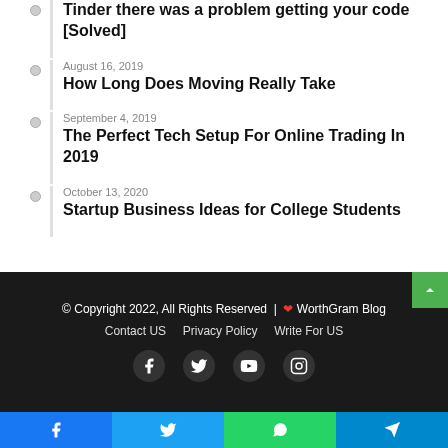Tinder there was a problem getting your code [Solved]
August 16, 2019
How Long Does Moving Really Take
September 4, 2019
The Perfect Tech Setup For Online Trading In 2019
October 13, 2020
Startup Business Ideas for College Students
© Copyright 2022, All Rights Reserved | ❤ WorthGram Blog
Contact US  Privacy Policy  Write For US
[Figure (infographic): Social media icons: Facebook, Twitter, YouTube, Instagram in dark footer]
[Figure (infographic): Bottom share bar with Facebook, Twitter, WhatsApp, Telegram icons]